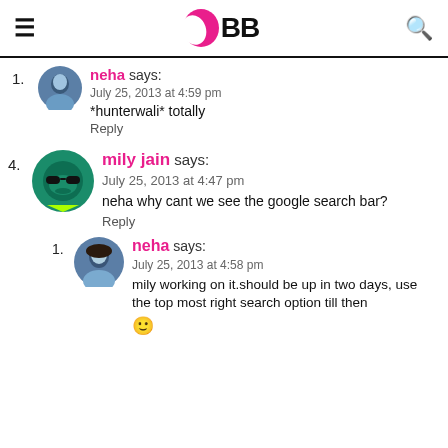IMBB
1. neha says:
July 25, 2013 at 4:59 pm
*hunterwali* totally
Reply
4. mily jain says:
July 25, 2013 at 4:47 pm
neha why cant we see the google search bar?
Reply
1. neha says:
July 25, 2013 at 4:58 pm
mily working on it.should be up in two days, use the top most right search option till then 🙂